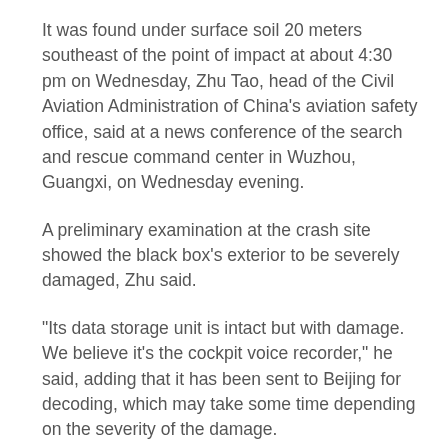It was found under surface soil 20 meters southeast of the point of impact at about 4:30 pm on Wednesday, Zhu Tao, head of the Civil Aviation Administration of China's aviation safety office, said at a news conference of the search and rescue command center in Wuzhou, Guangxi, on Wednesday evening.
A preliminary examination at the crash site showed the black box's exterior to be severely damaged, Zhu said.
"Its data storage unit is intact but with damage. We believe it's the cockpit voice recorder," he said, adding that it has been sent to Beijing for decoding, which may take some time depending on the severity of the damage.
Flight MU5735 left Kunming, Yunnan province, at 1:11 pm on Monday with 132 people on board. It was scheduled to arrive in Guangzhou, Guangdong province, at 3:05 pm. Air traffic controllers lost track of the airliner over Wuzhou at 2:21 pm.